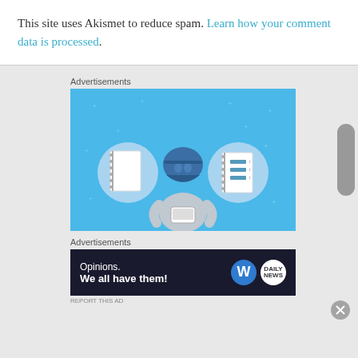This site uses Akismet to reduce spam. Learn how your comment data is processed.
Advertisements
[Figure (illustration): Advertisement banner with blue background showing a cartoon person holding a phone, flanked by two circular icons with notebook illustrations.]
Advertisements
[Figure (illustration): Dark advertisement banner with WordPress and Daily News logos. Text reads: Opinions. We all have them!]